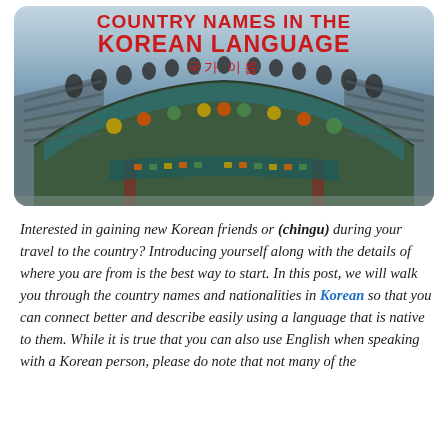[Figure (photo): Photo of a traditional Korean temple/palace with ornate colorful roof decorations. Overlaid text reads 'COUNTRY NAMES IN THE KOREAN LANGUAGE' in red bold capitals, with Korean subtitle '국가 이름' in red.]
Interested in gaining new Korean friends or (chingu) during your travel to the country? Introducing yourself along with the details of where you are from is the best way to start. In this post, we will walk you through the country names and nationalities in Korean so that you can connect better and describe easily using a language that is native to them. While it is true that you can also use English when speaking with a Korean person, please do note that not many of the